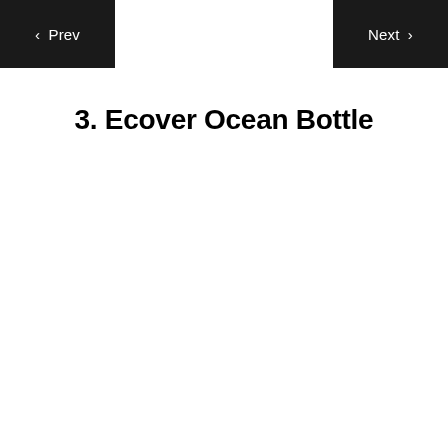Prev | Next
3. Ecover Ocean Bottle